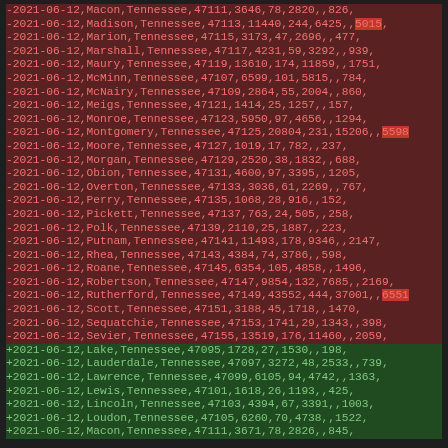Diff output showing removed (-) and added (+) CSV data rows for Tennessee county COVID-19 statistics dated 2021-06-12, including fields: date, county, state, FIPS, total cases, deaths, recovered, blank field, active cases.